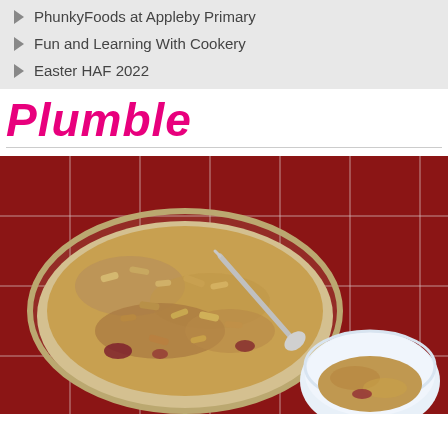PhunkyFoods at Appleby Primary
Fun and Learning With Cookery
Easter HAF 2022
Plumble
[Figure (photo): A baking dish filled with plum crumble topped with oat crumble topping, with a spoon resting in it, placed on a dark red checked tablecloth. Next to it is a white bowl with a serving of the plum crumble.]